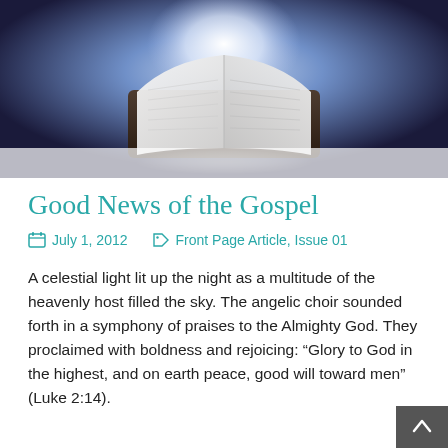[Figure (illustration): Open Bible book with glowing white light emanating from its center against a dark blue/purple background, floating with a soft shadow below]
Good News of the Gospel
July 1, 2012    Front Page Article, Issue 01
A celestial light lit up the night as a multitude of the heavenly host filled the sky. The angelic choir sounded forth in a symphony of praises to the Almighty God. They proclaimed with boldness and rejoicing: “Glory to God in the highest, and on earth peace, good will toward men” (Luke 2:14).